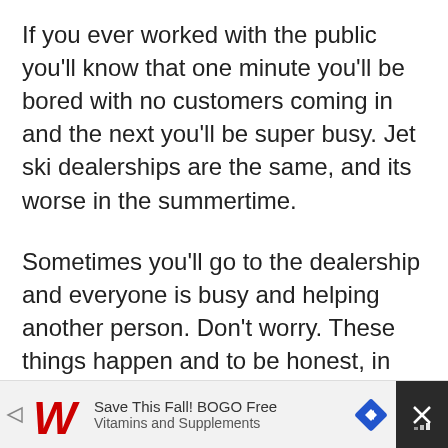If you ever worked with the public you'll know that one minute you'll be bored with no customers coming in and the next you'll be super busy. Jet ski dealerships are the same, and its worse in the summertime.
Sometimes you'll go to the dealership and everyone is busy and helping another person. Don't worry. These things happen and to be honest, in about an hour it will probably be slow again – unless it's a Saturday or Friday in the afternoon as those will be busy til it's time to go home.
[Figure (infographic): Walgreens advertisement banner: Save This Fall! BOGO Free Vitamins and Supplements, with Walgreens logo, navigation arrow icon, and a close button on dark background.]